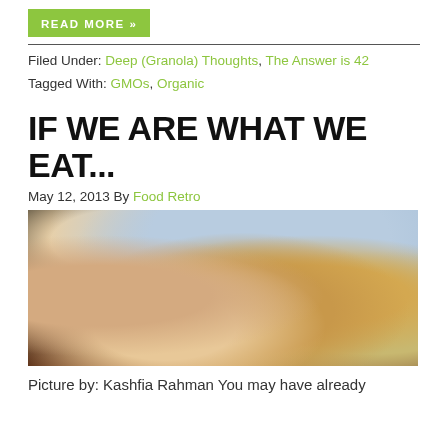READ MORE »
Filed Under: Deep (Granola) Thoughts, The Answer is 42
Tagged With: GMOs, Organic
IF WE ARE WHAT WE EAT...
May 12, 2013 By Food Retro
[Figure (photo): Close-up photo of a person eating a hot dog, showing the person's face close up with mouth open biting into a hot dog with toppings, background shows outdoor setting]
Picture by: Kashfia Rahman You may have already